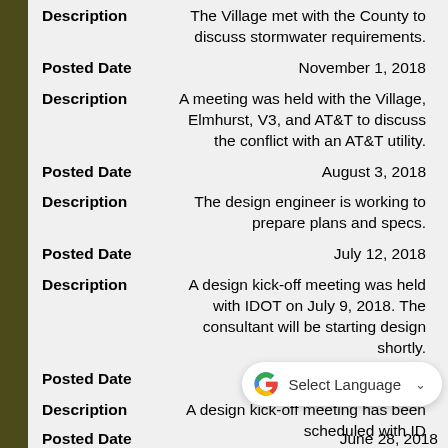Description: The Village met with the County to discuss stormwater requirements.
Posted Date: November 1, 2018
Description: A meeting was held with the Village, Elmhurst, V3, and AT&T to discuss the conflict with an AT&T utility.
Posted Date: August 3, 2018
Description: The design engineer is working to prepare plans and specs.
Posted Date: July 12, 2018
Description: A design kick-off meeting was held with IDOT on July 9, 2018. The consultant will be starting design shortly.
Posted Date: July 5, 2018
Description: A design kick-off meeting has been scheduled with ID...
Posted Date: June 28, 2018